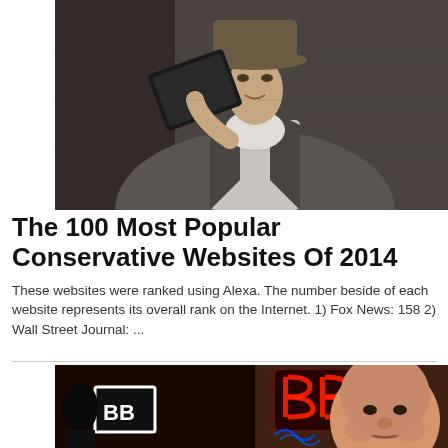[Figure (photo): Black and white photo of a young man in a fedora hat holding up a laptop or tablet, wearing a striped shirt and jacket]
The 100 Most Popular Conservative Websites Of 2014
These websites were ranked using Alexa. The number beside of each website represents its overall rank on the Internet. 1) Fox News: 158 2) Wall Street Journal: ...
[Figure (photo): Photo of Rush Limbaugh in front of a neon sign with the letters 'BB' or Breitbart logo, with a microphone visible]